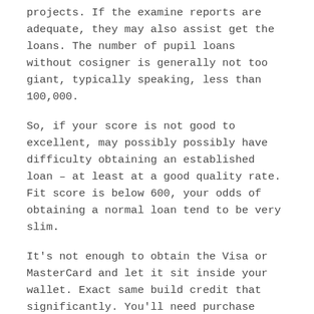projects. If the examine reports are adequate, they may also assist get the loans. The number of pupil loans without cosigner is generally not too giant, typically speaking, less than 100,000.
So, if your score is not good to excellent, may possibly possibly have difficulty obtaining an established loan – at least at a good quality rate. Fit score is below 600, your odds of obtaining a normal loan tend to be very slim.
It's not enough to obtain the Visa or MasterCard and let it sit inside your wallet. Exact same build credit that significantly. You'll need purchase stuff making use of and allow your payments promptly. At exactly the same time, tend payday loans no credit check slick cash loan to want to get stuff in order to be buying stuff. You only buy stuff may would have purchased anyway.
The goal of most advertising in order to attract new customers. Once someone becomes a customer, they won't respond individual advertising but. But you can use different (and cheaper) advertising to generate additional sales from every one of them.
Don't be afraid to have some fun along your way to relationship happiness! Enjoy getting learn people and understand that numerous